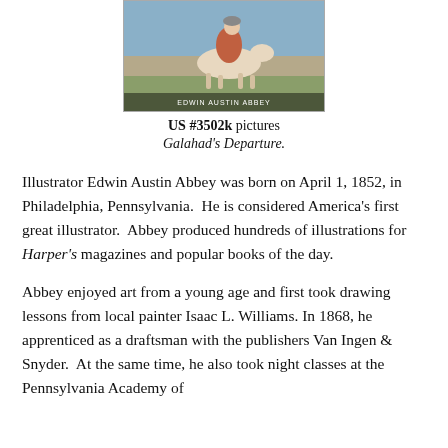[Figure (photo): A postage stamp depicting Edwin Austin Abbey on horseback, labeled 'EDWIN AUSTIN ABBEY' at the bottom.]
US #3502k pictures
Galahad's Departure.
Illustrator Edwin Austin Abbey was born on April 1, 1852, in Philadelphia, Pennsylvania. He is considered America's first great illustrator. Abbey produced hundreds of illustrations for Harper's magazines and popular books of the day.
Abbey enjoyed art from a young age and first took drawing lessons from local painter Isaac L. Williams. In 1868, he apprenticed as a draftsman with the publishers Van Ingen & Snyder. At the same time, he also took night classes at the Pennsylvania Academy of